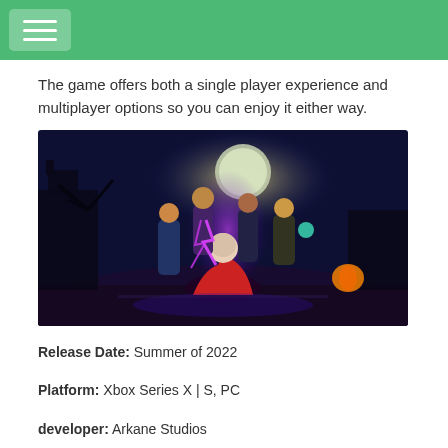The game offers both a single player experience and multiplayer options so you can enjoy it either way.
[Figure (photo): Video game promotional art showing a group of characters in a dark, atmospheric setting. A bald villain crawls in the foreground while four heroes stand behind him, one wielding a glowing purple energy weapon. The background features a haunted house and full moon.]
Release Date: Summer of 2022
Platform: Xbox Series X | S, PC
developer: Arkane Studios
Publisher: Bethesda Softworks